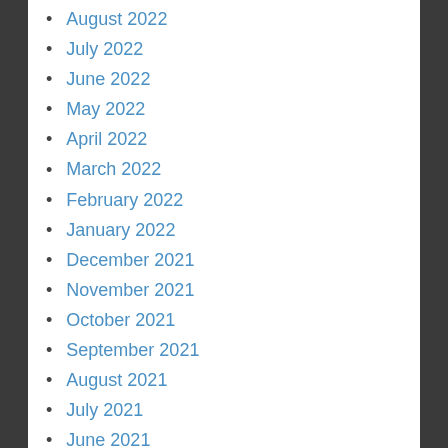August 2022
July 2022
June 2022
May 2022
April 2022
March 2022
February 2022
January 2022
December 2021
November 2021
October 2021
September 2021
August 2021
July 2021
June 2021
May 2021
April 2021
March 2021
February 2021
January 2021
December 2020